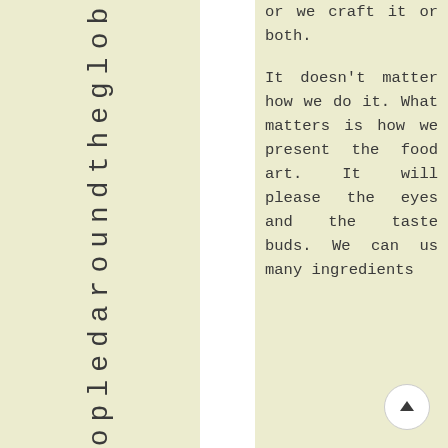eopledaroundtheglob
or we craft it or both. It doesn't matter how we do it. What matters is how we present the food art. It will please the eyes and the taste buds. We can use many ingredients